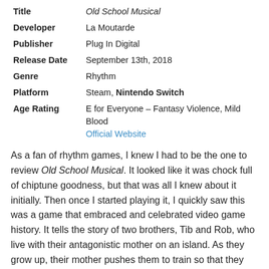| Title | Old School Musical |
| Developer | La Moutarde |
| Publisher | Plug In Digital |
| Release Date | September 13th, 2018 |
| Genre | Rhythm |
| Platform | Steam, Nintendo Switch |
| Age Rating | E for Everyone – Fantasy Violence, Mild Blood |
|  | Official Website |
As a fan of rhythm games, I knew I had to be the one to review Old School Musical. It looked like it was chock full of chiptune goodness, but that was all I knew about it initially. Then once I started playing it, I quickly saw this was a game that embraced and celebrated video game history. It tells the story of two brothers, Tib and Rob, who live with their antagonistic mother on an island. As they grow up, their mother pushes them to train so that they can one day become true heroes. One day years later, their island starts glitching out, and Tib and Rob find a note left by their missing mother, telling them only they can stop the glitches. Thus they set off on a hilarious and fourth wall